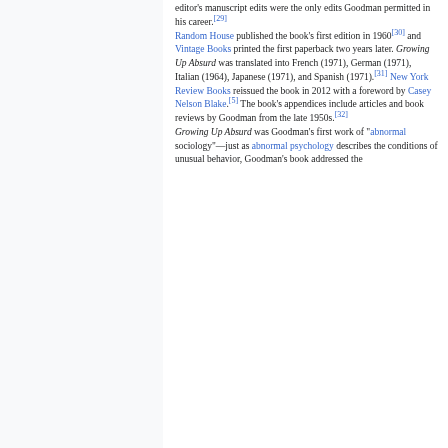editor's manuscript edits were the only edits Goodman permitted in his career.[29]
Random House published the book's first edition in 1960[30] and Vintage Books printed the first paperback two years later. Growing Up Absurd was translated into French (1971), German (1971), Italian (1964), Japanese (1971), and Spanish (1971).[31] New York Review Books reissued the book in 2012 with a foreword by Casey Nelson Blake.[5] The book's appendices include articles and book reviews by Goodman from the late 1950s.[32]
Growing Up Absurd was Goodman's first work of "abnormal sociology"—just as abnormal psychology describes the conditions of unusual behavior, Goodman's book addressed the